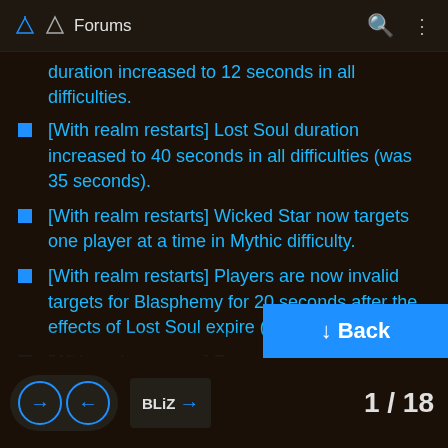Forums
duration increased to 12 seconds in all difficulties.
[With realm restarts] Lost Soul duration increased to 40 seconds in all difficulties (was 35 seconds).
[With realm restarts] Wicked Star now targets one player at a time in Mythic difficulty.
[With realm restarts] Players are now invalid targets for Blasphemy for 20 seconds after the effects of Lost Soul expire (was 10 seconds).
[With realm restarts] Re... health of... by 15%... Mythic d...
1 / 18